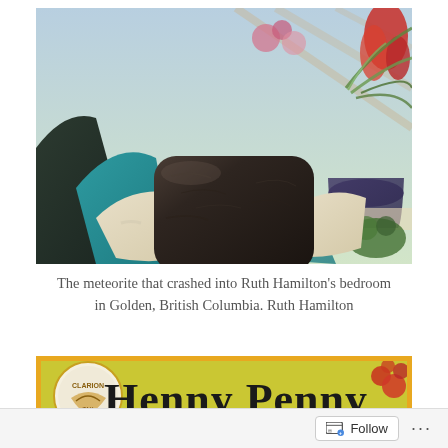[Figure (photo): Person wearing rubber gloves holding a dark, rounded meteorite rock near a windowsill with potted plants in the background. The person is wearing a teal blue sweater.]
The meteorite that crashed into Ruth Hamilton’s bedroom in Golden, British Columbia. Ruth Hamilton
[Figure (illustration): Partial view of a book cover or sign reading 'Henny Penny' with a Clarion publisher logo on the left and illustrated decorative elements including red berries/flowers on a green/yellow background.]